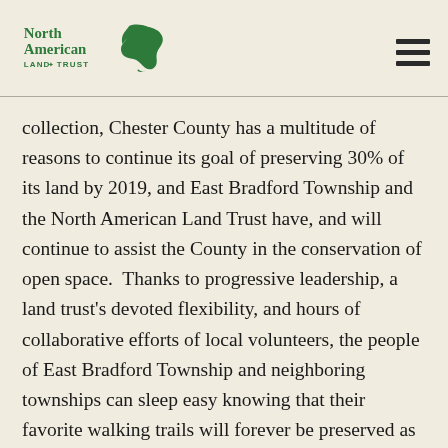North American Land Trust
collection, Chester County has a multitude of reasons to continue its goal of preserving 30% of its land by 2019, and East Bradford Township and the North American Land Trust have, and will continue to assist the County in the conservation of open space.  Thanks to progressive leadership, a land trust’s devoted flexibility, and hours of collaborative efforts of local volunteers, the people of East Bradford Township and neighboring townships can sleep easy knowing that their favorite walking trails will forever be preserved as public open space.